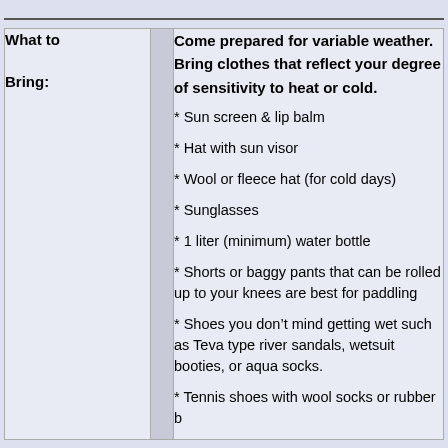What to Bring:
Come prepared for variable weather. Bring clothes that reflect your degree of sensitivity to heat or cold.
* Sun screen & lip balm
* Hat with sun visor
* Wool or fleece hat (for cold days)
* Sunglasses
* 1 liter (minimum) water bottle
* Shorts or baggy pants that can be rolled up to your knees are best for paddling
* Shoes you don't mind getting wet such as Teva type river sandals, wetsuit booties, or aqua socks.
* Tennis shoes with wool socks or rubber b...